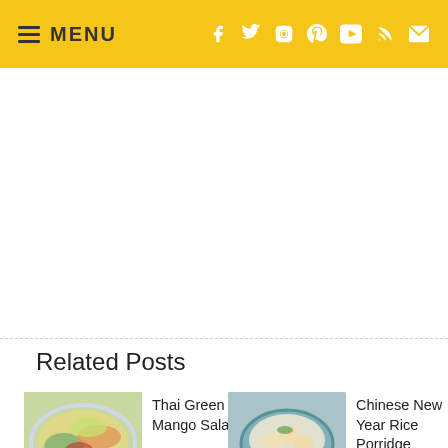MENU
Related Posts
[Figure (photo): Thai Green Mango Salad dish photo]
Thai Green Mango Salad
[Figure (photo): Chinese New Year Rice Porridge dish photo]
Chinese New Year Rice Porridge